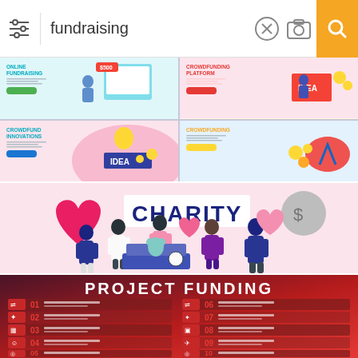fundraising
[Figure (screenshot): Search results for 'fundraising' showing four illustration thumbnails: Online Fundraising, Crowdfunding Platform, Crowdfund Innovations, and Crowdfunding]
[Figure (illustration): Charity illustration showing group of people holding hearts and CHARITY sign with donation box]
[Figure (infographic): Project Funding infographic with red gradient background listing items 01-10 with icons]